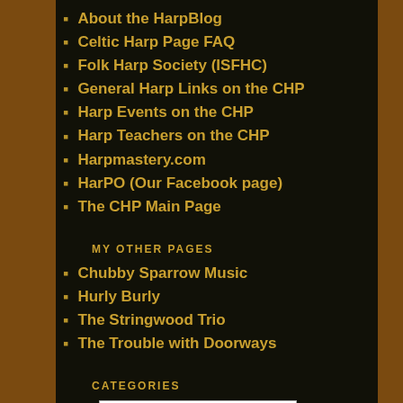About the HarpBlog
Celtic Harp Page FAQ
Folk Harp Society (ISFHC)
General Harp Links on the CHP
Harp Events on the CHP
Harp Teachers on the CHP
Harpmastery.com
HarPO (Our Facebook page)
The CHP Main Page
MY OTHER PAGES
Chubby Sparrow Music
Hurly Burly
The Stringwood Trio
The Trouble with Doorways
CATEGORIES
Select Category
HARPO (ONTARIO HARPS)